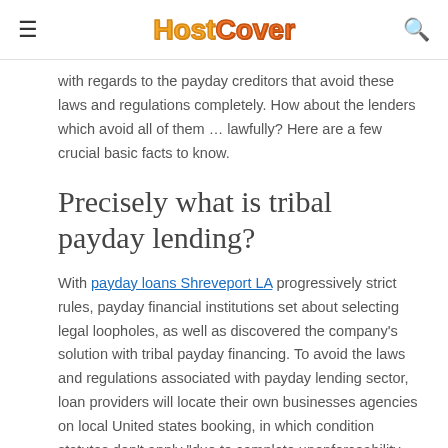HostCover
with regards to the payday creditors that avoid these laws and regulations completely. How about the lenders which avoid all of them … lawfully? Here are a few crucial basic facts to know.
Precisely what is tribal payday lending?
With payday loans Shreveport LA progressively strict rules, payday financial institutions set about selecting legal loopholes, as well as discovered the company's solution with tribal payday financing. To avoid the laws and regulations associated with payday lending sector, loan providers will locate their own businesses agencies on local United states booking, in which condition statutes don't apply "due to complete unenforceability acquiring from tribal